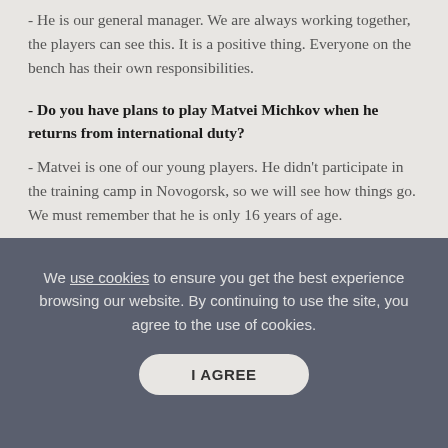- He is our general manager. We are always working together, the players can see this. It is a positive thing. Everyone on the bench has their own responsibilities.
- Do you have plans to play Matvei Michkov when he returns from international duty?
- Matvei is one of our young players. He didn't participate in the training camp in Novogorsk, so we will see how things go. We must remember that he is only 16 years of age.
- You have a lot of centre forwards. Will this be a problem? For example, Marat Khusnutdinov might not receive his ice time.
- Marat is playing on the wing at the moment. The role of centre forwards is crucial for a team, and they have to do a lot of work in defence too.
HC SKA defenseman Igor Okhrimenko
We use cookies to ensure you get the best experience browsing our website. By continuing to use the site, you agree to the use of cookies.
I AGREE